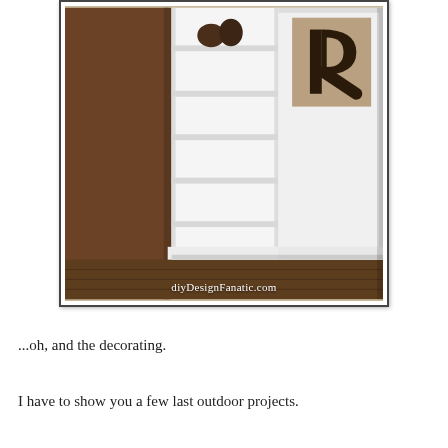[Figure (photo): A white built-in bookcase/shelving unit that appears to be a hidden door swinging open, revealing shelves inside. There is a large decorative letter R on the wall to the right. The room has dark wood flooring and brown walls visible. Watermark reads diyDesignFanatic.com.]
...oh, and the decorating.
I have to show you a few last outdoor projects.